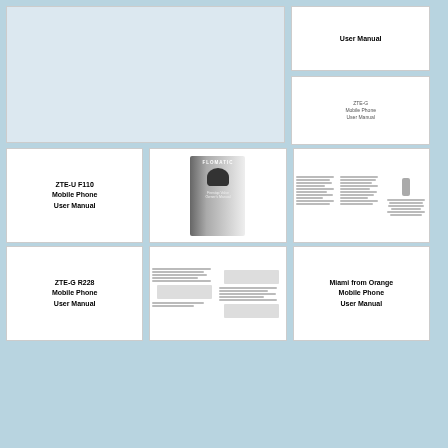[Figure (screenshot): Large blank light-blue document thumbnail, top-left spanning two columns]
User Manual
[Figure (screenshot): Small document thumbnail with tiny text reading ZTE-G Mobile Phone User Manual]
[Figure (screenshot): Document cover: ZTE-U F110 Mobile Phone User Manual]
ZTE-U F110
Mobile Phone
User Manual
[Figure (screenshot): Flomatic product manual cover with helmet graphic]
[Figure (screenshot): Multi-column document page with tables and figures]
[Figure (screenshot): Document cover: ZTE-G R228 Mobile Phone User Manual]
ZTE-G R228
Mobile Phone
User Manual
[Figure (screenshot): Multi-column technical document with diagrams]
[Figure (screenshot): Document cover: Miami from Orange Mobile Phone User Manual]
Miami from Orange
Mobile Phone
User Manual